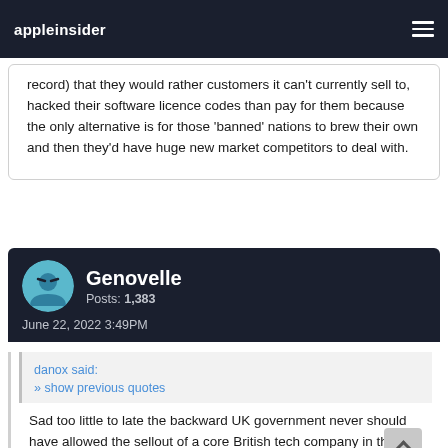appleinsider
record) that they would rather customers it can't currently sell to, hacked their software licence codes than pay for them because the only alternative is for those 'banned' nations to brew their own and then they'd have huge new market competitors to deal with.
Genovelle
Posts: 1,383
June 22, 2022 3:49PM
danox said:
» show previous quotes

Sad too little to late the backward UK government never should have allowed the sellout of a core British tech company in the first place, the sun has